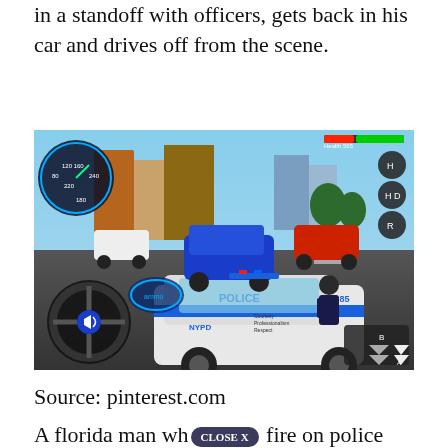in a standoff with officers, gets back in his car and drives off from the scene.
[Figure (screenshot): Screenshot of a police car video game (NYPD themed) showing a character exiting a police car labeled 'POLICE' and 'AH 85' on a city street. UI elements include a speedometer, steering wheel, health bar, and game controls.]
Source: pinterest.com
A florida man whe [CLOSE X button] fire on police